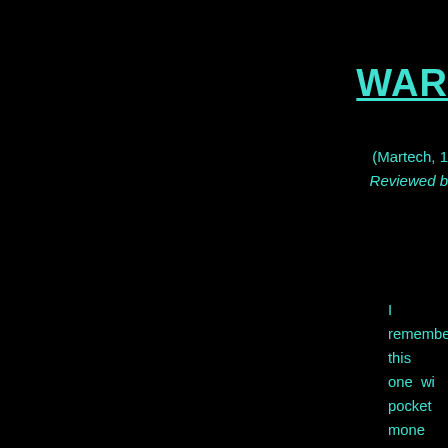WAR
(Martech, 1
Reviewed b
I  remember    this  one  wi   pocket  mone   weekend.    L   the  game  giv   promise  of  a   looking   sho   up.   An   imp   Mode    1      appears   as     screen  and    are  displayed   your  heart  si   the    small